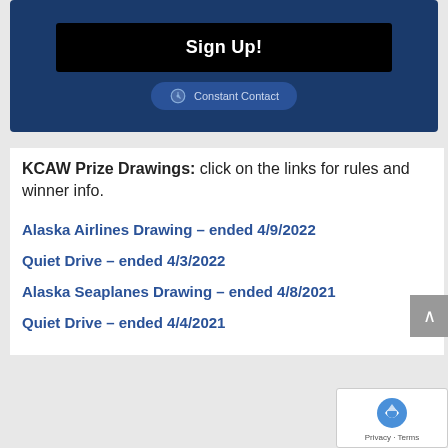[Figure (screenshot): Dark blue banner with a black 'Sign Up!' button and a Constant Contact badge below it]
KCAW Prize Drawings: click on the links for rules and winner info.
Alaska Airlines Drawing – ended 4/9/2022
Quiet Drive – ended 4/3/2022
Alaska Seaplanes Drawing – ended 4/8/2021
Quiet Drive – ended 4/4/2021